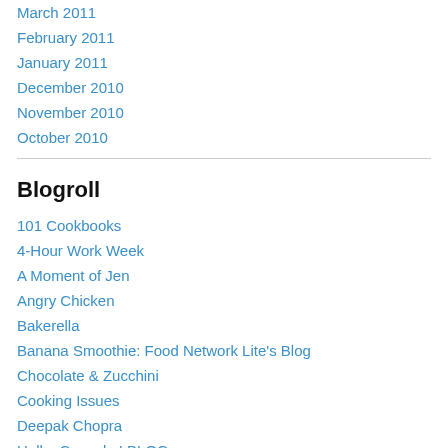March 2011
February 2011
January 2011
December 2010
November 2010
October 2010
Blogroll
101 Cookbooks
4-Hour Work Week
A Moment of Jen
Angry Chicken
Bakerella
Banana Smoothie: Food Network Lite's Blog
Chocolate & Zucchini
Cooking Issues
Deepak Chopra
Hello, Cupcake! BLOG